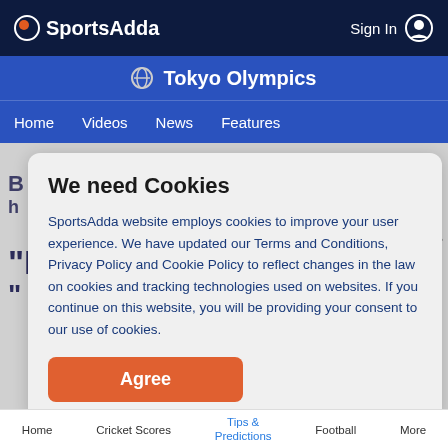SportsAdda — Sign In
Tokyo Olympics
Home  Videos  News  Features
We need Cookies
SportsAdda website employs cookies to improve your user experience. We have updated our Terms and Conditions, Privacy Policy and Cookie Policy to reflect changes in the law on cookies and tracking technologies used on websites. If you continue on this website, you will be providing your consent to our use of cookies.
Agree
Home  Cricket Scores  Tips & Predictions  Football  More